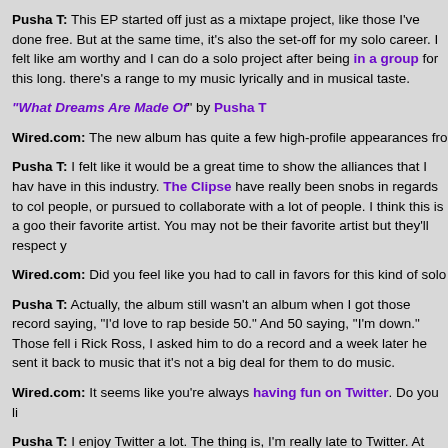Pusha T: This EP started off just as a mixtape project, like those I've done free. But at the same time, it's also the set-off for my solo career. I felt like am worthy and I can do a solo project after being in a group for this long. there's a range to my music lyrically and in musical taste.
“What Dreams Are Made Of” by Pusha T
Wired.com: The new album has quite a few high-profile appearances fro
Pusha T: I felt like it would be a great time to show the alliances that I hav have in this industry. The Clipse have really been snobs in regards to col people, or pursued to collaborate with a lot of people. I think this is a goo their favorite artist. You may not be their favorite artist but they'll respect y
Wired.com: Did you feel like you had to call in favors for this kind of solo
Pusha T: Actually, the album still wasn't an album when I got those record saying, “I’d love to rap beside 50.” And 50 saying, “I’m down.” Those fell i Rick Ross, I asked him to do a record and a week later he sent it back to music that it’s not a big deal for them to do music.
Wired.com: It seems like you’re always having fun on Twitter. Do you li
Pusha T: I enjoy Twitter a lot. The thing is, I’m really late to Twitter. At one was. And I don’t like his dialog, so I was like, “You’ve got to stop this.” Wh gauge the response of the public. I honestly think it’s a better gauge than immediately listen to it, you’re getting the instant reaction.
Wired.com: Yeah, and blogs have a much different vibe.